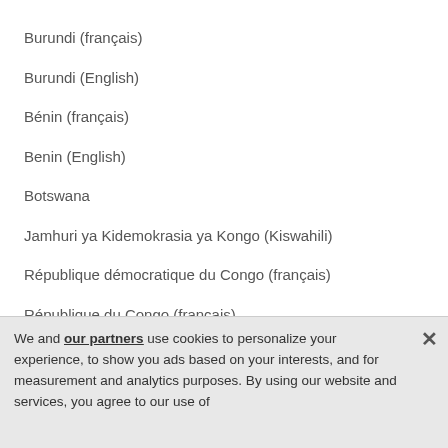Burundi (français)
Burundi (English)
Bénin (français)
Benin (English)
Botswana
Jamhuri ya Kidemokrasia ya Kongo (Kiswahili)
République démocratique du Congo (français)
République du Congo (français)
We and our partners use cookies to personalize your experience, to show you ads based on your interests, and for measurement and analytics purposes. By using our website and services, you agree to our use of